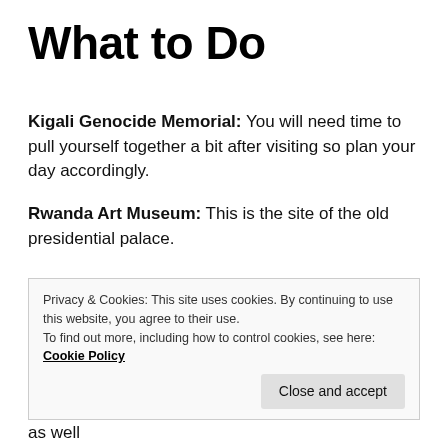What to Do
Kigali Genocide Memorial: You will need time to pull yourself together a bit after visiting so plan your day accordingly.
Rwanda Art Museum: This is the site of the old presidential palace.
Music/Nightlife: Remera is a prime location with several venues to choose from on KG 18 Ave such as 514 Club & Rosty Club. Kimihurura also offers music. Lavana is a
Privacy & Cookies: This site uses cookies. By continuing to use this website, you agree to their use.
To find out more, including how to control cookies, see here: Cookie Policy
Shopping: Kigali Heights offers a variety of shops as well